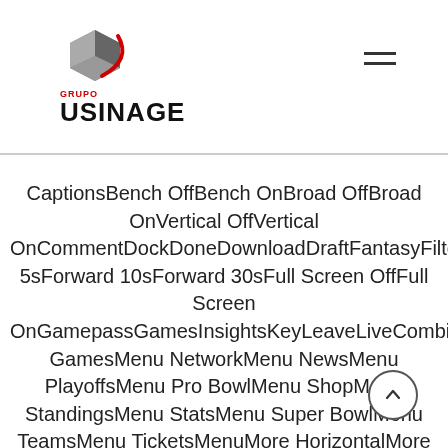GRUPO USINAGE logo with navigation hamburger menu
CaptionsBench OffBench OnBroad OffBroad OnVertical OffVertical OnCommentDockDoneDownloadDraftFantasyFilterForward 5sForward 10sForward 30sFull Screen OffFull Screen OnGamepassGamesInsightsKeyLeaveLiveCombineDraftFantasyMenu GamesMenu NetworkMenu NewsMenu PlayoffsMenu Pro BowlMenu ShopMenu StandingsMenu StatsMenu Super BowlMenu TeamsMenu TicketsMenuMore HorizontalMore VerticalMy LocationNetworkNewsPauseplayMultiple PlayersSingle PlayerPlaylistPlayoffsPro BowlPurgeRefreshRemoveReplaySearchSettingSharehare AndroidShare Copy URLShare EmailShare FacebookShare InstagramShare iOSShare